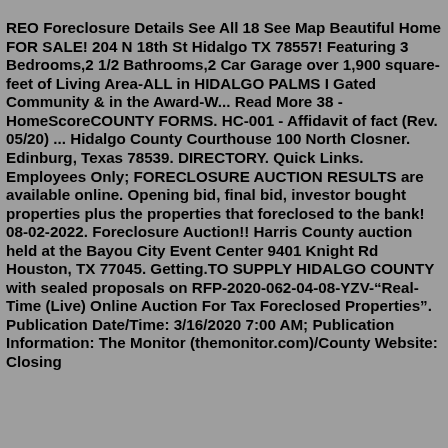REO Foreclosure Details See All 18 See Map Beautiful Home FOR SALE! 204 N 18th St Hidalgo TX 78557! Featuring 3 Bedrooms,2 1/2 Bathrooms,2 Car Garage over 1,900 square-feet of Living Area-ALL in HIDALGO PALMS I Gated Community & in the Award-W... Read More 38 - HomeScoreCOUNTY FORMS. HC-001 - Affidavit of fact (Rev. 05/20) ... Hidalgo County Courthouse 100 North Closner. Edinburg, Texas 78539. DIRECTORY. Quick Links. Employees Only; FORECLOSURE AUCTION RESULTS are available online. Opening bid, final bid, investor bought properties plus the properties that foreclosed to the bank! 08-02-2022. Foreclosure Auction!! Harris County auction held at the Bayou City Event Center 9401 Knight Rd Houston, TX 77045. Getting.TO SUPPLY HIDALGO COUNTY with sealed proposals on RFP-2020-062-04-08-YZV-“Real-Time (Live) Online Auction For Tax Foreclosed Properties”. Publication Date/Time: 3/16/2020 7:00 AM; Publication Information: The Monitor (themonitor.com)/County Website: Closing